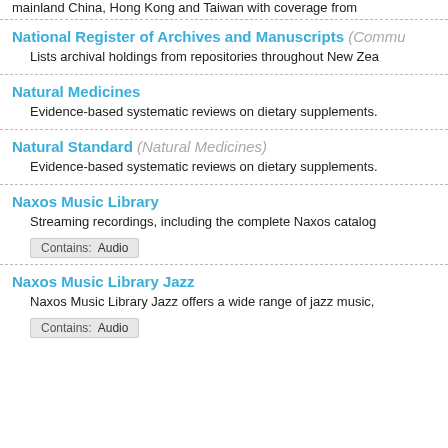mainland China, Hong Kong and Taiwan with coverage from
National Register of Archives and Manuscripts (Commu
Lists archival holdings from repositories throughout New Zea
Natural Medicines
Evidence-based systematic reviews on dietary supplements.
Natural Standard (Natural Medicines)
Evidence-based systematic reviews on dietary supplements.
Naxos Music Library
Streaming recordings, including the complete Naxos catalog
Contains: Audio
Naxos Music Library Jazz
Naxos Music Library Jazz offers a wide range of jazz music,
Contains: Audio